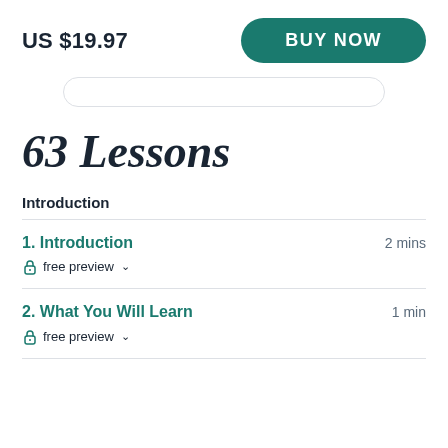US $19.97
BUY NOW
63 Lessons
Introduction
1. Introduction — 2 mins — free preview
2. What You Will Learn — 1 min — free preview